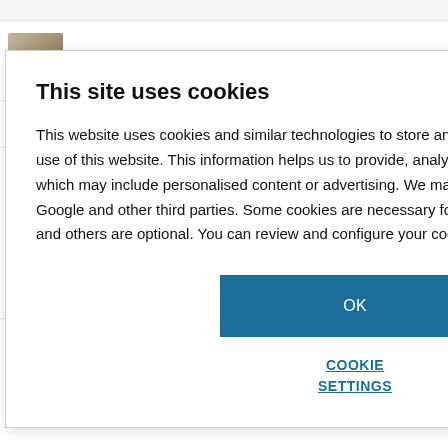Explainer: How do sunscreens safely
ain genes could
ntaining
by low pressure
This site uses cookies
This website uses cookies and similar technologies to store and retrieve information about your use of this website. This information helps us to provide, analyse and improve our services, which may include personalised content or advertising. We may share this information with Google and other third parties. Some cookies are necessary for our website to work properly and others are optional. You can review and configure your cookie settings below.
OK
COOKIE SETTINGS